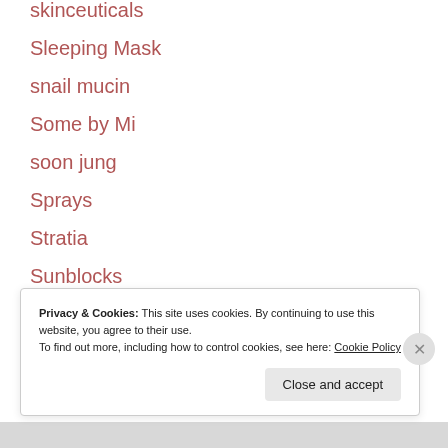skinceuticals
Sleeping Mask
snail mucin
Some by Mi
soon jung
Sprays
Stratia
Sunblocks
Sunday Riley
Privacy & Cookies: This site uses cookies. By continuing to use this website, you agree to their use.
To find out more, including how to control cookies, see here: Cookie Policy
Close and accept